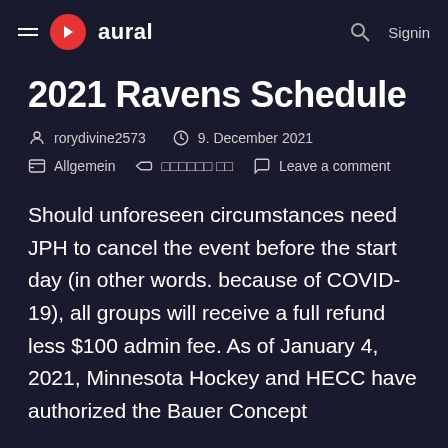aural — navigation bar with hamburger menu, logo, search and Signin
2021 Ravens Schedule
rorydivine2573   9. December 2021   Allgemein   □□□□□□ □□   Leave a comment
Should unforeseen circumstances need JPH to cancel the event before the start day (in other words. because of COVID-19), all groups will receive a full refund less $100 admin fee. As of January 4, 2021, Minnesota Hockey and HECC have authorized the Bauer Concept